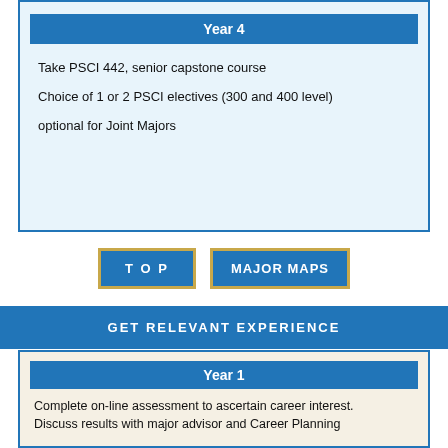Year 4
Take PSCI 442, senior capstone course
Choice of 1 or 2 PSCI electives (300 and 400 level)
optional for Joint Majors
TOP
MAJOR MAPS
GET RELEVANT EXPERIENCE
Year 1
Complete on-line assessment to ascertain career interest. Discuss results with major advisor and Career Planning